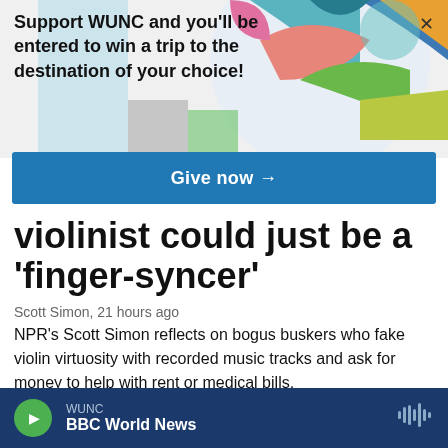[Figure (screenshot): Colorful geometric shapes background with circle and rectangular color blocks in teal, blue, pink, green, orange, yellow, gray tones]
Support WUNC and you'll be entered to win a trip to the destination of your choice!
Give now →
violinist could just be a 'finger-syncer'
Scott Simon,  21 hours ago
NPR's Scott Simon reflects on bogus buskers who fake violin virtuosity with recorded music tracks and ask for money to help with rent or medical bills.
LISTEN • 2:27
WUNC  BBC World News